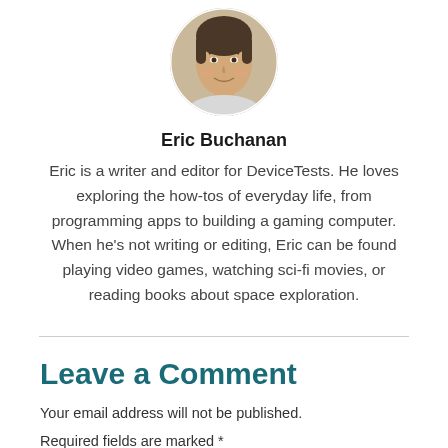[Figure (photo): Circular portrait photo of Eric Buchanan, a young man smiling, with dark hair, wearing a light-colored top, against a light background.]
Eric Buchanan
Eric is a writer and editor for DeviceTests. He loves exploring the how-tos of everyday life, from programming apps to building a gaming computer. When he's not writing or editing, Eric can be found playing video games, watching sci-fi movies, or reading books about space exploration.
Leave a Comment
Your email address will not be published.
Required fields are marked *